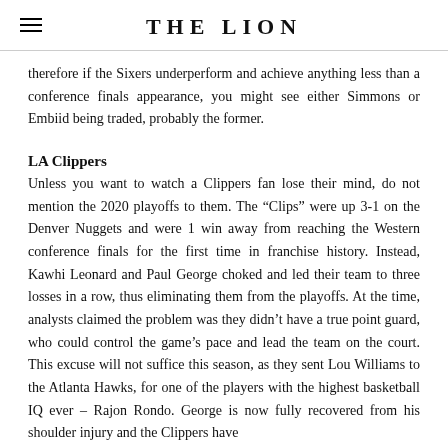THE LION
therefore if the Sixers underperform and achieve anything less than a conference finals appearance, you might see either Simmons or Embiid being traded, probably the former.
LA Clippers
Unless you want to watch a Clippers fan lose their mind, do not mention the 2020 playoffs to them. The “Clips” were up 3-1 on the Denver Nuggets and were 1 win away from reaching the Western conference finals for the first time in franchise history. Instead, Kawhi Leonard and Paul George choked and led their team to three losses in a row, thus eliminating them from the playoffs. At the time, analysts claimed the problem was they didn’t have a true point guard, who could control the game’s pace and lead the team on the court. This excuse will not suffice this season, as they sent Lou Williams to the Atlanta Hawks, for one of the players with the highest basketball IQ ever – Rajon Rondo. George is now fully recovered from his shoulder injury and the Clippers have